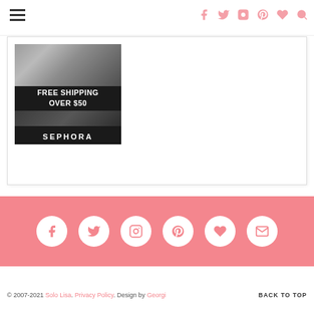Navigation menu and social icons: Facebook, Twitter, Instagram, Pinterest, Bloglovin, Search
[Figure (advertisement): Sephora advertisement banner: black fabric background with text 'FREE SHIPPING OVER $50' and 'SEPHORA' logo in white]
[Figure (infographic): Pink social media bar with white circular icons for Facebook, Twitter, Instagram, Pinterest, Bloglovin, Email]
© 2007-2021 Solo Lisa. Privacy Policy. Design by Georgi    BACK TO TOP